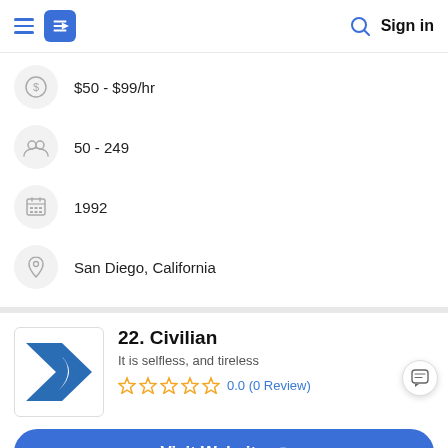Sign in
$50 - $99/hr
50 - 249
1992
San Diego, California
22. Civilian
It is selfless, and tireless
0.0 (0 Review)
Visit Website
Civilian is a full service marketing communications agency